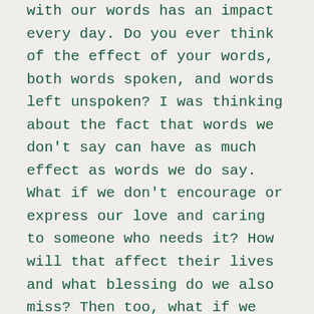Kind words are like honey. What we choose to do with our words has an impact every day. Do you ever think of the effect of your words, both words spoken, and words left unspoken? I was thinking about the fact that words we don't say can have as much effect as words we do say. What if we don't encourage or express our love and caring to someone who needs it? How will that affect their lives and what blessing do we also miss? Then too, what if we hold our tongue and don't speak that hasty or critical remark? Aren't we all more prone to snapping at others during times of anxiety or exhaustion? Stepping aside, avoiding words, or being especially mindful of what I say helps… Those are good times for some kind words from others!
Just as a smile is contagious, so are positive and